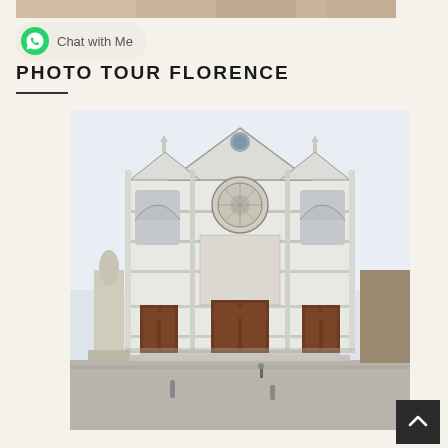[Figure (photo): Partial top strip of a photo, showing warm-toned blurred image (possibly a cat or dog)]
[Figure (logo): WhatsApp green circle icon with phone handset]
Chat with Me
PHOTO TOUR FLORENCE
[Figure (photo): Facade of the Basilica di Santa Croce in Florence, Italy. White and green marble Gothic facade with rose window, three large wooden entrance doors, statue to the left, piazza in front. Pale overcast sky.]